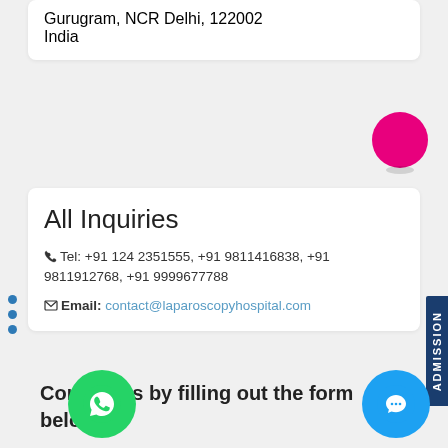Gurugram, NCR Delhi, 122002
India
All Inquiries
Tel: +91 124 2351555, +91 9811416838, +91 9811912768, +91 9999677788
Email: contact@laparoscopyhospital.com
Contact us by filling out the form below...
[Figure (other): WhatsApp icon button (green circle with WhatsApp logo)]
[Figure (other): Chat icon button (blue circle with speech bubble icon)]